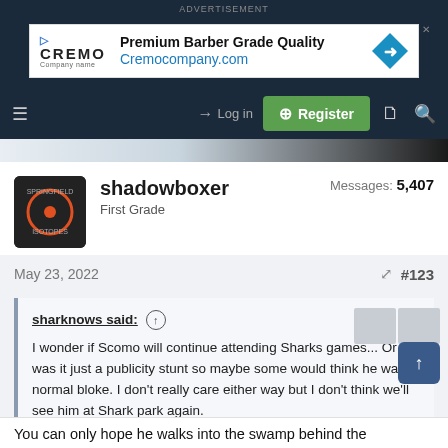ADVERTISEMENT
[Figure (screenshot): Cremo advertisement banner: Premium Barber Grade Quality, Cremocompany.com]
[Figure (screenshot): Navigation bar with hamburger menu, Log in button, Register button (green), document and search icons]
[Figure (photo): Partial banner image of a person in dark clothing]
shadowboxer
First Grade
Messages: 5,407
May 23, 2022  #123
sharknows said: ↑
I wonder if Scomo will continue attending Sharks games... Or was it just a publicity stunt so maybe some would think he was a normal bloke. I don't really care either way but I don't think we'll see him at Shark park again.
You can only hope he walks into the swamp behind the